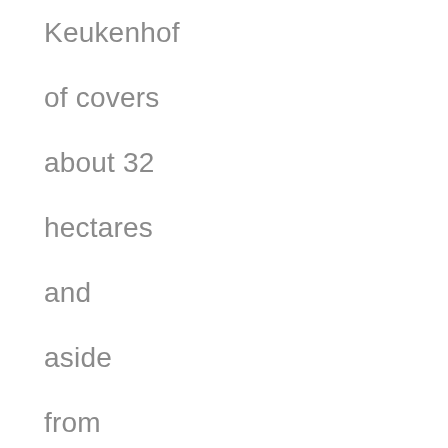Keukenhof covers about 32 hectares and aside from tulips, there are also other beautiful flowers like daffodils , hyacinth